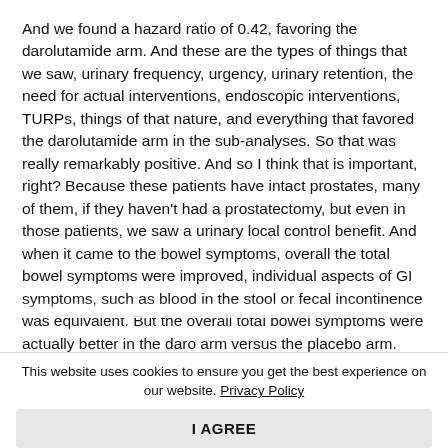And we found a hazard ratio of 0.42, favoring the darolutamide arm. And these are the types of things that we saw, urinary frequency, urgency, urinary retention, the need for actual interventions, endoscopic interventions, TURPs, things of that nature, and everything that favored the darolutamide arm in the sub-analyses. So that was really remarkably positive. And so I think that is important, right? Because these patients have intact prostates, many of them, if they haven't had a prostatectomy, but even in those patients, we saw a urinary local control benefit. And when it came to the bowel symptoms, overall the total bowel symptoms were improved, individual aspects of GI symptoms, such as blood in the stool or fecal incontinence was equivalent. But the overall total bowel symptoms were actually better in the daro arm versus the placebo arm.
This website uses cookies to ensure you get the best experience on our website. Privacy Policy
I AGREE